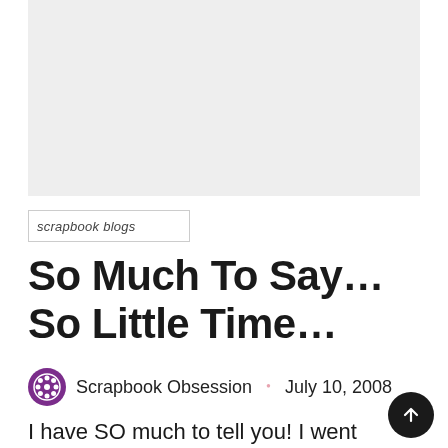[Figure (other): Gray placeholder image box at top of page]
scrapbook blogs
So Much To Say…So Little Time…
Scrapbook Obsession · July 10, 2008
I have SO much to tell you! I went *shopping* today and have pics of my great finds at Mike's and Target. I have some blog awards